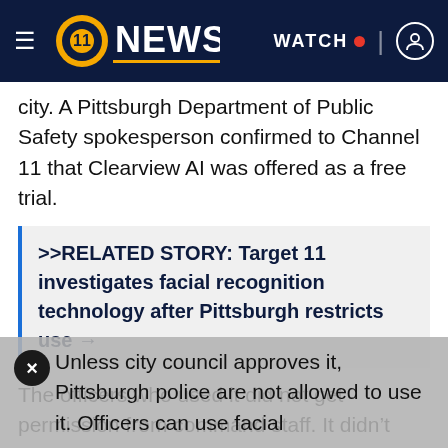[Figure (logo): WPXI Channel 11 News header bar with logo, WATCH button with red dot, and user icon on dark navy background]
city. A Pittsburgh Department of Public Safety spokesperson confirmed to Channel 11 that Clearview AI was offered as a free trial.
>>RELATED STORY: Target 11 investigates facial recognition technology after Pittsburgh restricts use →
The officers who used it did not get permission from command staff. It didn't lead to any arrests or prosecutions after the protests.
Unless city council approves it, Pittsburgh police are not allowed to use it. Officers can use facial